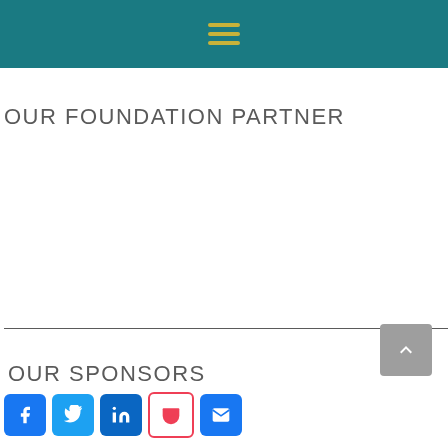Navigation menu (hamburger icon)
OUR FOUNDATION PARTNER
OUR SPONSORS
[Figure (other): Social media icons: Facebook, Twitter, LinkedIn, Pocket, Email]
[Figure (other): Scroll to top button with upward chevron arrow]